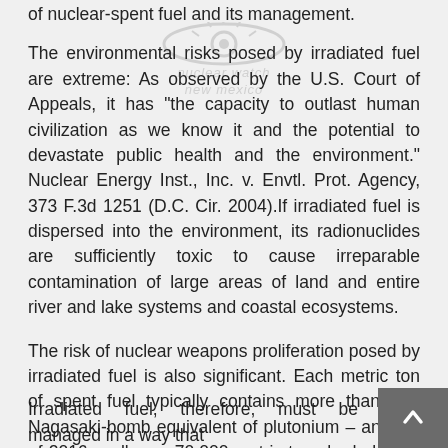of nuclear-spent fuel and its management.
[Figure (logo): Nuclear Watch New Mexico watermark logo — an eye graphic with text 'nuclear watch new mexico' below it, shown semi-transparently]
The environmental risks posed by irradiated fuel are extreme: As observed by the U.S. Court of Appeals, it has "the capacity to outlast human civilization as we know it and the potential to devastate public health and the environment." Nuclear Energy Inst., Inc. v. Envtl. Prot. Agency, 373 F.3d 1251 (D.C. Cir. 2004).If irradiated fuel is dispersed into the environment, its radionuclides are sufficiently toxic to cause irreparable contamination of large areas of land and entire river and lake systems and coastal ecosystems.
The risk of nuclear weapons proliferation posed by irradiated fuel is also significant. Each metric ton of spent fuel typically contains more than one Nagasaki-bomb equivalent of plutonium – and, as of 2016, well over 70,000 metric tons had already be been created in the United States by the commercial nuclear power reactors. Spent fuel, storage and/or disposal may pose a risk of theft if it is stored or disposed of in a manner that would allow access in a few hundred years when the fission product radiation barrier would have declined to low levels.
Irradiated fuel, therefore, must be managed in a way that